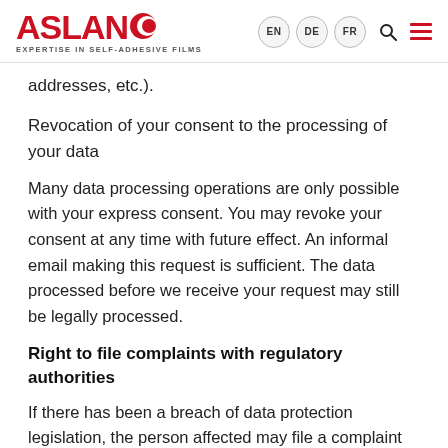ASLAN EXPERTISE IN SELF-ADHESIVE FILMS | EN DE FR
addresses, etc.).
Revocation of your consent to the processing of your data
Many data processing operations are only possible with your express consent. You may revoke your consent at any time with future effect. An informal email making this request is sufficient. The data processed before we receive your request may still be legally processed.
Right to file complaints with regulatory authorities
If there has been a breach of data protection legislation, the person affected may file a complaint with the competent regulatory authorities. The competent